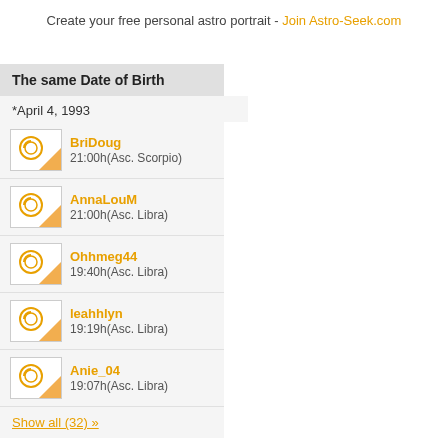Create your free personal astro portrait - Join Astro-Seek.com
The same Date of Birth
*April 4, 1993
BriDoug - 21:00h(Asc. Scorpio)
AnnaLouM - 21:00h(Asc. Libra)
Ohhmeg44 - 19:40h(Asc. Libra)
leahhlyn - 19:19h(Asc. Libra)
Anie_04 - 19:07h(Asc. Libra)
Show all (32) »